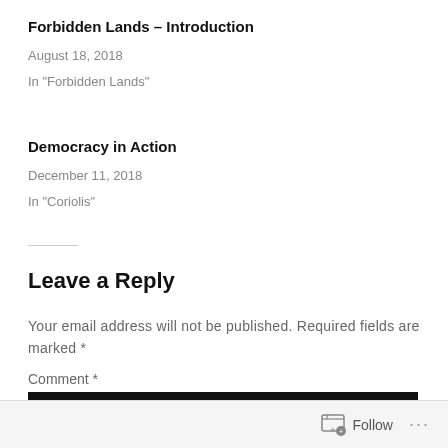Forbidden Lands – Introduction
August 18, 2018
In "Forbidden Lands"
Democracy in Action
December 11, 2018
In "Coriolis"
Leave a Reply
Your email address will not be published. Required fields are marked *
Comment *
Follow ...